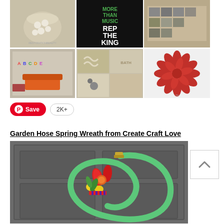[Figure (photo): Pinterest collage grid of 6 home/craft images: jar with white balls, music event poster, photo display shelf, kids playroom with alphabet letters, bathroom decor collage, red paper flower]
Save  2K+
Garden Hose Spring Wreath from Create Craft Love
[Figure (photo): Garden hose coiled into a wreath shape on a gray door, decorated with colorful spring tulips and flowers with a striped ribbon]